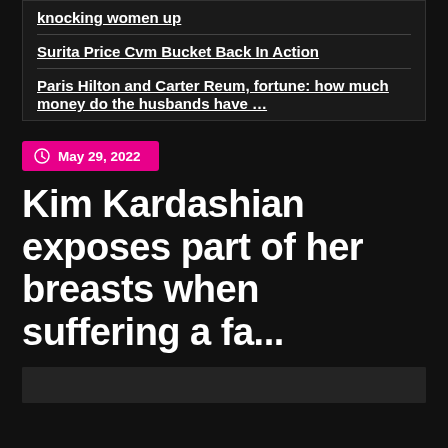knocking women up
Surita Price Cvm Bucket Back In Action
Paris Hilton and Carter Reum, fortune: how much money do the husbands have …
May 29, 2022
Kim Kardashian exposes part of her breasts when suffering a fa...
[Figure (photo): Partial photo strip at bottom of page, dark background]